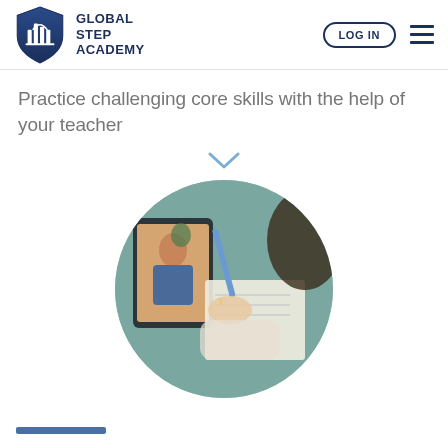Global Step Academy — LOG IN
Practice challenging core skills with the help of your teacher
[Figure (photo): Circular photo of a student writing in a notebook while a teacher appears on a tablet screen in a video call]